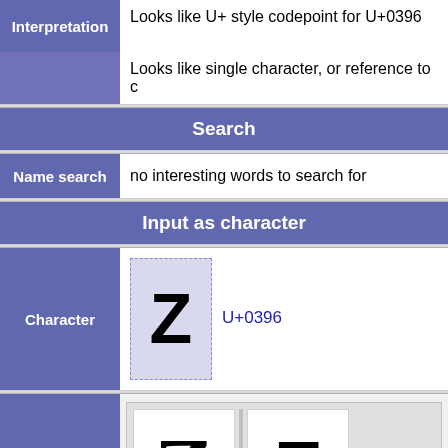| Interpretation |  |
| --- | --- |
| Interpretation | Looks like U+ style codepoint for U+0396 |
|  | Looks like single character, or reference to c |
Search
| Name search |  |
| --- | --- |
| Name search | no interesting words to search for |
Input as character
| Character |  |
| --- | --- |
| Character | Ζ  U+0396 |
| Character image |  |
| --- | --- |
| Character image | Ζ  Ζ |